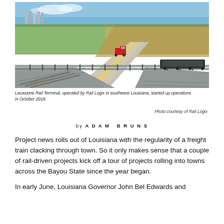[Figure (photo): Aerial view of Lacassine Rail Terminal in southwest Louisiana, showing rail tracks, a road crossing, a red truck, and surrounding fields.]
Lacassine Rail Terminal, operated by Rail Logix in southwest Louisiana, started up operations in October 2018.
Photo courtesy of Rail Logix
by ADAM BRUNS
Project news rolls out of Louisiana with the regularity of a freight train clacking through town. So it only makes sense that a couple of rail-driven projects kick off a tour of projects rolling into towns across the Bayou State since the year began.
In early June, Louisiana Governor John Bel Edwards and